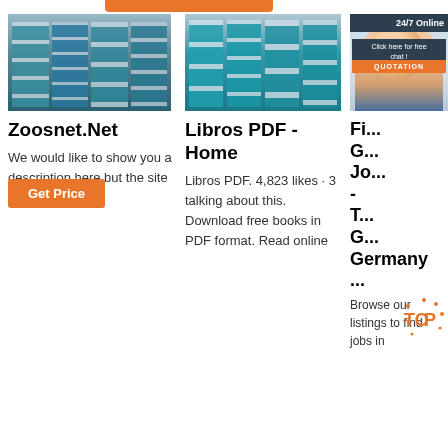[Figure (photo): Industrial milling machine equipment in factory setting]
[Figure (photo): Industrial milling machine equipment in factory setting, teal colored]
[Figure (photo): Customer support agent woman with headset, 24/7 Online chat widget overlay]
Zoosnet.Net
We would like to show you a description here but the site won't allow us.
Libros PDF - Home
Libros PDF. 4,823 likes · 3 talking about this. Download free books in PDF format. Read online
Fi... G... Jo... - T... G... Germany ...
Browse our listings to find jobs in
[Figure (logo): TOP logo watermark in orange with dots]
Get Price